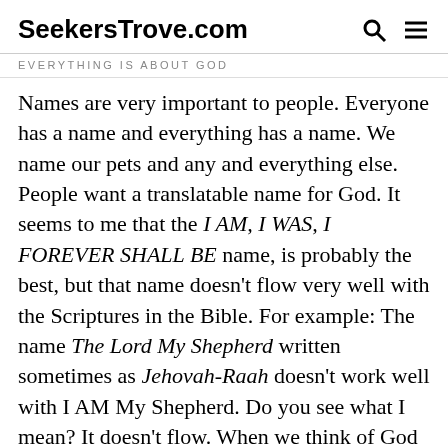SeekersTrove.com
Everything is About God
Names are very important to people. Everyone has a name and everything has a name. We name our pets and any and everything else. People want a translatable name for God. It seems to me that the I AM, I WAS, I FOREVER SHALL BE name, is probably the best, but that name doesn't flow very well with the Scriptures in the Bible. For example: The name The Lord My Shepherd written sometimes as Jehovah-Raah doesn't work well with I AM My Shepherd. Do you see what I mean? It doesn't flow. When we think of God being our shepherd, in a name format, we could